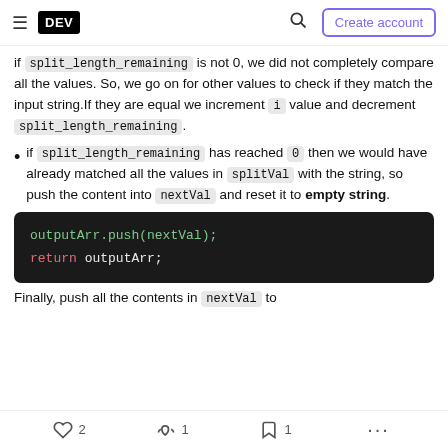DEV — Create account
if split_length_remaining is not 0, we did not completely compare all the values. So, we go on for other values to check if they match the input string. If they are equal we increment i value and decrement split_length_remaining.
if split_length_remaining has reached 0 then we would have already matched all the values in splitVal with the string, so push the content into nextVal and reset it to empty string.
[Figure (screenshot): Code block with dark background showing: outputArr.push(nextVal); return outputArr;]
Finally, push all the contents in nextVal to
2 reactions, 1 unicorn, 1 bookmark, more options